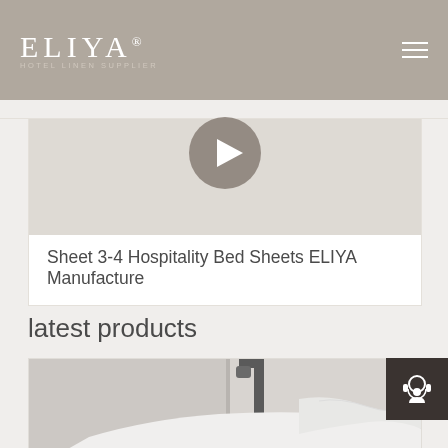ELIYA
[Figure (screenshot): Video thumbnail with play button for 'Sheet 3-4 Hospitality Bed Sheets ELIYA Manufacture']
Sheet 3-4 Hospitality Bed Sheets ELIYA Manufacture
latest products
[Figure (photo): Product image showing a white bathtub with a chrome faucet/tap fixture and white fabric/sheet draped over the side]